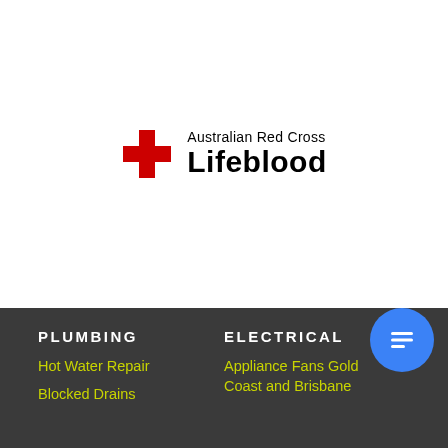[Figure (logo): Australian Red Cross Lifeblood logo with red cross icon on the left and text 'Australian Red Cross Lifeblood' on the right]
PLUMBING
Hot Water Repair
Blocked Drains
ELECTRICAL
Appliance Fans Gold Coast and Brisbane